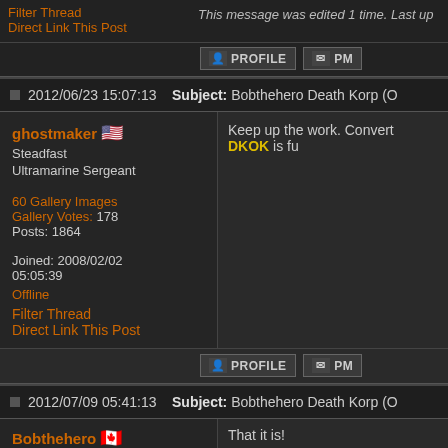Filter Thread
Direct Link This Post
This message was edited 1 time. Last up...
2012/06/23 15:07:13   Subject: Bobthehero Death Korp (O...
ghostmaker
Steadfast
Ultramarine Sergeant
Keep up the work. Convert DKOK is fu...
60 Gallery Images
Gallery Votes: 178
Posts: 1864
Joined: 2008/02/02
05:05:39
Offline
Filter Thread
Direct Link This Post
2012/07/09 05:41:13   Subject: Bobthehero Death Korp (O...
Bobthehero
Heroic Senior Officer
That it is!